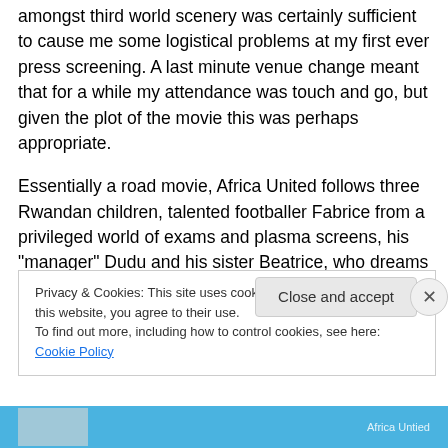amongst third world scenery was certainly sufficient to cause me some logistical problems at my first ever press screening. A last minute venue change meant that for a while my attendance was touch and go, but given the plot of the movie this was perhaps appropriate.
Essentially a road movie, Africa United follows three Rwandan children, talented footballer Fabrice from a privileged world of exams and plasma screens, his “manager” Dudu and his sister Beatrice, who dreams of becoming a doctor and finding the cure to HIV. So far so
Privacy & Cookies: This site uses cookies. By continuing to use this website, you agree to their use.
To find out more, including how to control cookies, see here: Cookie Policy